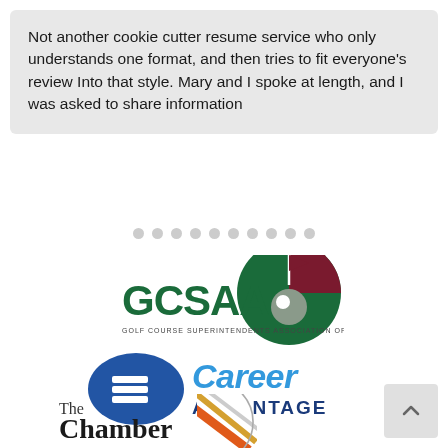Not another cookie cutter resume service who only understands one format, and then tries to fit everyone's review Into that style. Mary and I spoke at length, and I was asked to share information
[Figure (logo): GCSAA - Golf Course Superintendents Association of America logo with green circle and flag graphic]
[Figure (logo): Career Advantage logo with blue oval shape containing stacked rectangles icon and blue text reading Career Advantage]
[Figure (logo): The Chamber logo with stylized circular graphic partially visible]